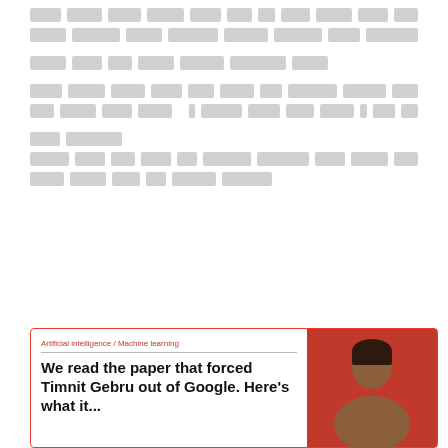[redacted paragraph 1, 2 lines]
[redacted paragraph 2, 1 line]
[redacted paragraph 3, 3 lines with quoted text]
[redacted paragraph 4, 2 lines]
[Figure (screenshot): Article card with red border. Category: Artificial intelligence / Machine learning. Title: 'We read the paper that forced Timnit Gebru out of Google. Here’s what it...' Right side shows a photo of a person against a red background.]